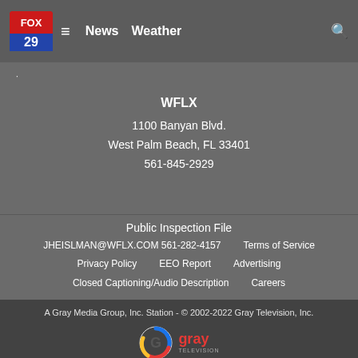FOX 29 | News | Weather
WFLX
1100 Banyan Blvd.
West Palm Beach, FL 33401
561-845-2929
Public Inspection File
JHEISLMAN@WFLX.COM 561-282-4157
Terms of Service
Privacy Policy
EEO Report
Advertising
Closed Captioning/Audio Description
Careers
A Gray Media Group, Inc. Station - © 2002-2022 Gray Television, Inc.
[Figure (logo): Gray Television logo with colorful G icon and gray wordmark]